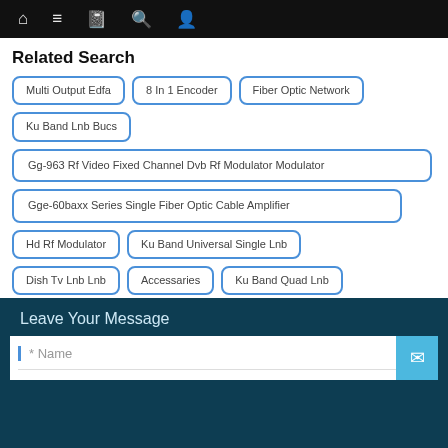Navigation bar with home, menu, book, search, and account icons
Related Search
Multi Output Edfa
8 In 1 Encoder
Fiber Optic Network
Ku Band Lnb Bucs
Gg-963 Rf Video Fixed Channel Dvb Rf Modulator Modulator
Gge-60baxx Series Single Fiber Optic Cable Amplifier
Hd Rf Modulator
Ku Band Universal Single Lnb
Dish Tv Lnb Lnb
Accessaries
Ku Band Quad Lnb
Leave Your Message
* Name